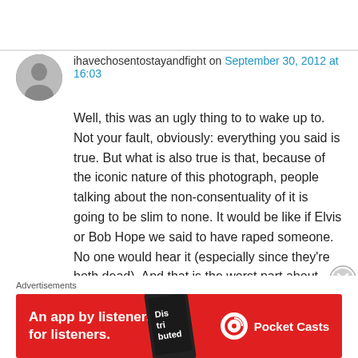ihavechosentostayandfight on September 30, 2012 at 16:03
Well, this was an ugly thing to to wake up to. Not your fault, obviously: everything you said is true. But what is also true is that, because of the iconic nature of this photograph, people talking about the non-consentuality of it is going to be slim to none. It would be like if Elvis or Bob Hope we said to have raped someone. No one would hear it (especially since they're both dead). And that is the worst part about rape culture: we often
Advertisements
[Figure (other): Red advertisement banner for Pocket Casts app: 'An app by listeners, for listeners.' with phone image and Pocket Casts logo]